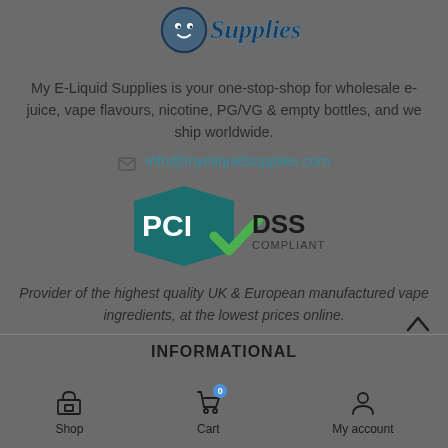[Figure (logo): My E-Liquid Supplies logo — stylized text 'Supplies' with a cartoon character, in navy/teal color]
My E-Liquid Supplies is your one-stop-shop for wholesale e-juice, vape flavours, nicotine, PG/VG & empty bottles, and we ship worldwide.
info@myeliquidsupplies.com
[Figure (logo): PCI DSS Compliant badge with teal pentagon shape and green checkmark]
Provider of the highest quality UK & European manufactured vape ingredients, at the lowest prices online.
INFORMATIONAL
Shop  Cart  My account